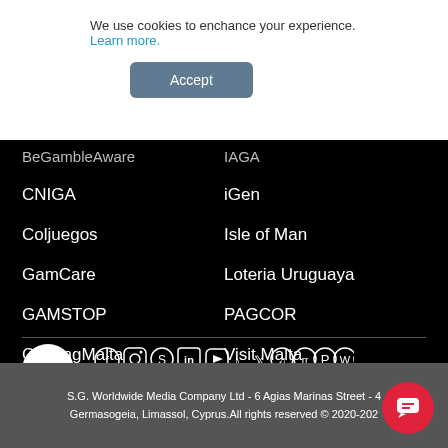We use cookies to enchance your experience. Learn more.
Accept
BeGambleAware
IAGA
CNIGA
iGen
Coljuegos
Isle of Man
GamCare
Loteria Uruguaya
GAMSTOP
PAGCOR
GamingMalta
Visit Malta
[Figure (other): Social media icons row: Facebook, Instagram, Skype, LinkedIn, YouTube, TikTok, Twitter, Spotify, Reddit, Pinterest, WhatsApp, Telegram]
S.G. Worldwide Media Company Ltd - 6 Agias Marinas Street - 4 Germasogeia, Limassol, Cyprus. All rights reserved © 2020-202